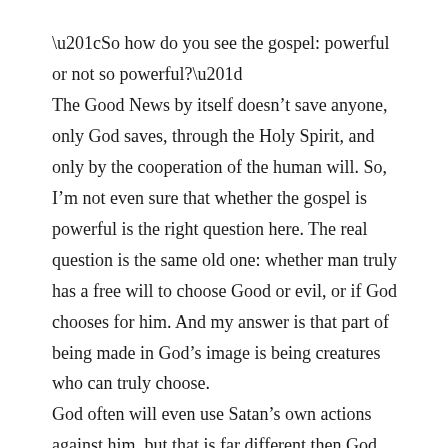“So how do you see the gospel: powerful or not so powerful?”
The Good News by itself doesn’t save anyone, only God saves, through the Holy Spirit, and only by the cooperation of the human will. So, I’m not even sure that whether the gospel is powerful is the right question here. The real question is the same old one: whether man truly has a free will to choose Good or evil, or if God chooses for him. And my answer is that part of being made in God’s image is being creatures who can truly choose.
God often will even use Satan’s own actions against him, but that is far different then God